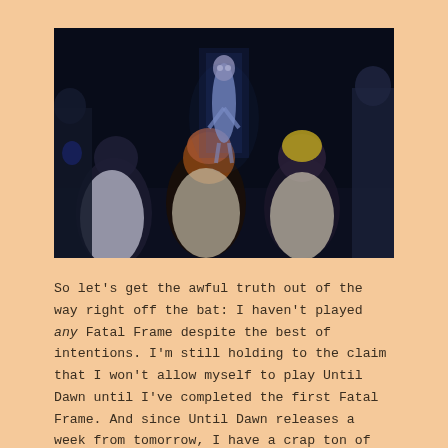[Figure (screenshot): Dark screenshot from a 3D video game (Fatal Frame) showing animated characters from behind facing a glowing ghostly figure in a doorway. The scene is very dark with blue tones.]
So let's get the awful truth out of the way right off the bat: I haven't played any Fatal Frame despite the best of intentions. I'm still holding to the claim that I won't allow myself to play Until Dawn until I've completed the first Fatal Frame. And since Until Dawn releases a week from tomorrow, I have a crap ton of catching up to do.